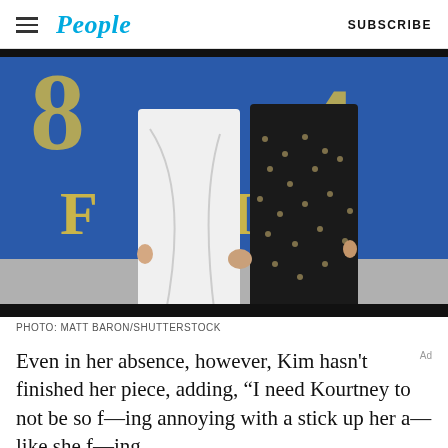People | SUBSCRIBE
[Figure (photo): Two people standing at a photo call backdrop, one in a white outfit and one in a black polka-dot outfit]
PHOTO: MATT BARON/SHUTTERSTOCK
Even in her absence, however, Kim hasn't finished her piece, adding, “I need Kourtney to not be so f—ing annoying with a stick up her a— like she f—ing